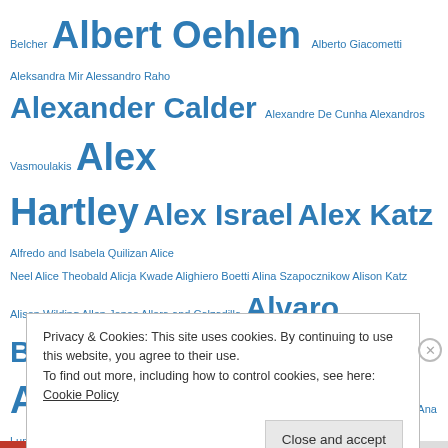Belcher Albert Oehlen Alberto Giacometti Aleksandra Mir Alessandro Raho Alexander Calder Alexandre De Cunha Alexandros Vasmoulakis Alex Hartley Alex Israel Alex Katz Alfredo and Isabela Quilizan Alice Neel Alice Theobald Alicja Kwade Alighiero Boetti Alina Szapocznikow Alison Katz Alison Wilding Allen Jones Allora and Calzadilla Alvaro Barrington Alvin Ong Amalia Pica Amalia Ulman Amy Sillman Ana Jotta Ana Lupas Ana Mendieta Andrea Bowers Andrea Buttner Andrea G Artz Andrea Geyer Andreas Eriksson Andreas Schultz Andrea Zittel Andre Butzer Andrew Cranston Andrew Grassie Andrew Munks Andrey Sokolov Andrzej Wroblewski Andy Warhol Angela de la Cruz Anish Kapoor Anj Smith An My Le Anna Barriball
Privacy & Cookies: This site uses cookies. By continuing to use this website, you agree to their use. To find out more, including how to control cookies, see here: Cookie Policy